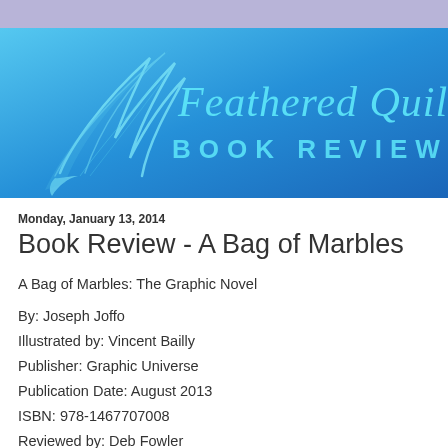[Figure (logo): Feathered Quill Book Reviews logo with feather quill illustration on blue gradient background with lavender top band]
Monday, January 13, 2014
Book Review - A Bag of Marbles
A Bag of Marbles: The Graphic Novel
By: Joseph Joffo
Illustrated by: Vincent Bailly
Publisher: Graphic Universe
Publication Date: August 2013
ISBN: 978-1467707008
Reviewed by: Deb Fowler